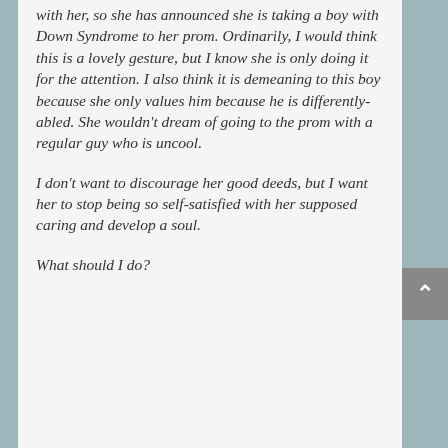with her, so she has announced she is taking a boy with Down Syndrome to her prom. Ordinarily, I would think this is a lovely gesture, but I know she is only doing it for the attention. I also think it is demeaning to this boy because she only values him because he is differently-abled. She wouldn't dream of going to the prom with a regular guy who is uncool.
I don't want to discourage her good deeds, but I want her to stop being so self-satisfied with her supposed caring and develop a soul.
What should I do?